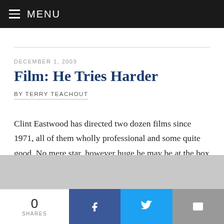MENU
DECEMBER 1, 2003
Film: He Tries Harder
BY TERRY TEACHOUT
Clint Eastwood has directed two dozen films since 1971, all of them wholly professional and some quite good. No mere star, however huge he may be at the box office, gets to make that many movies unless he knows exactly what he...
0 SHARES